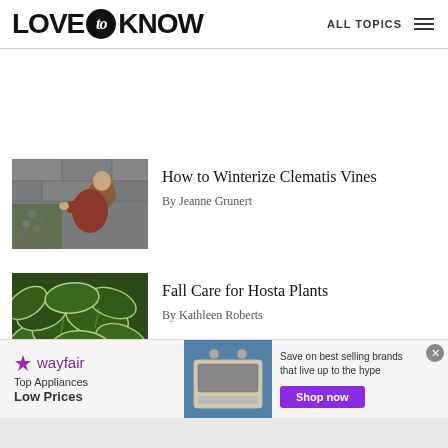LOVE to KNOW   ALL TOPICS
[Figure (photo): Person tending to clematis vines on a stone wall]
How to Winterize Clematis Vines
By Jeanne Grunert
[Figure (photo): Green hosta plants with variegated leaves]
Fall Care for Hosta Plants
By Kathleen Roberts
[Figure (infographic): Wayfair advertisement: Top Appliances Low Prices, Save on best selling brands that live up to the hype, Shop now button]